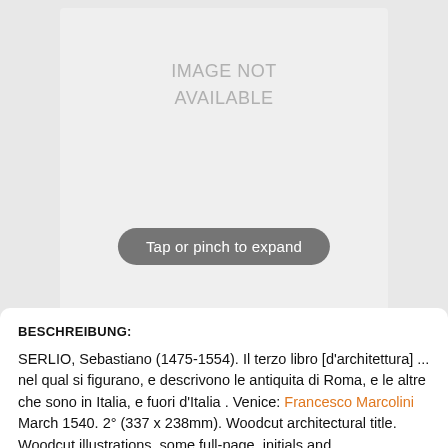[Figure (photo): Image placeholder with text 'IMAGE NOT AVAILABLE' and a 'Tap or pinch to expand' button overlay]
BESCHREIBUNG:
SERLIO, Sebastiano (1475-1554). Il terzo libro [d'architettura] ... nel qual si figurano, e descrivono le antiquita di Roma, e le altre che sono in Italia, e fuori d'Italia . Venice: Francesco Marcolini March 1540. 2° (337 x 238mm). Woodcut architectural title. Woodcut illustrations, some full-page, initials and